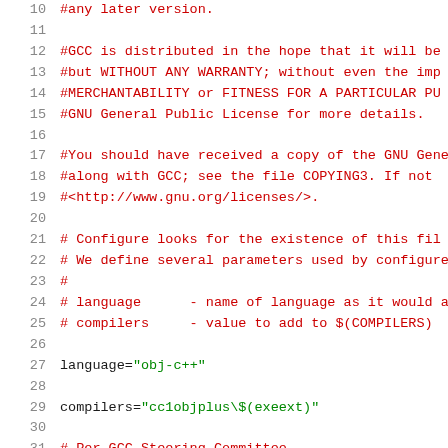Source code listing lines 10-31 of a GCC build configuration script
10: #any later version.
11: (blank)
12: #GCC is distributed in the hope that it will be
13: #but WITHOUT ANY WARRANTY; without even the impl
14: #MERCHANTABILITY or FITNESS FOR A PARTICULAR PU
15: #GNU General Public License for more details.
16: (blank)
17: #You should have received a copy of the GNU Gene
18: #along with GCC; see the file COPYING3.  If not
19: #<http://www.gnu.org/licenses/>.
20: (blank)
21: # Configure looks for the existence of this fil
22: # We define several parameters used by configure
23: #
24: # language      - name of language as it would a
25: # compilers     - value to add to $(COMPILERS)
26: (blank)
27: language="obj-c++"
28: (blank)
29: compilers="cc1objplus\$(exeext)"
30: (blank)
31: # Per GCC Steering Committee.